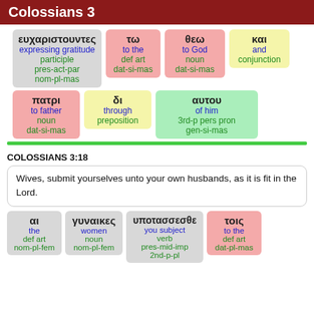Colossians 3
| ευχαριστουντες / expressing gratitude / participle / pres-act-par / nom-pl-mas | τω / to the / def art / dat-si-mas | θεω / to God / noun / dat-si-mas | και / and / conjunction |
| πατρι / to father / noun / dat-si-mas | δι / through / preposition | αυτου / of him / 3rd-p pers pron / gen-si-mas |
COLOSSIANS 3:18
Wives, submit yourselves unto your own husbands, as it is fit in the Lord.
| αι / the / def art / nom-pl-fem | γυναικες / women / noun / nom-pl-fem | υποτασσεσθε / you subject / verb / pres-mid-imp / 2nd-p-pl | τοις / to the / def art / dat-pl-mas |